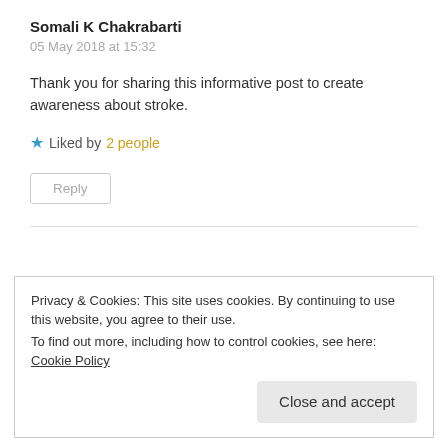Somali K Chakrabarti
05 May 2018 at 15:32
Thank you for sharing this informative post to create awareness about stroke.
★ Liked by 2 people
Reply
Privacy & Cookies: This site uses cookies. By continuing to use this website, you agree to their use.
To find out more, including how to control cookies, see here: Cookie Policy
Close and accept